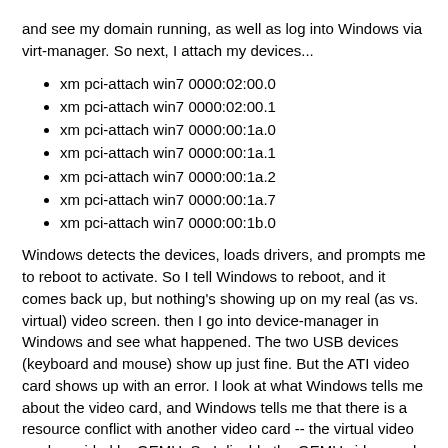and see my domain running, as well as log into Windows via virt-manager. So next, I attach my devices...
xm pci-attach win7 0000:02:00.0
xm pci-attach win7 0000:02:00.1
xm pci-attach win7 0000:00:1a.0
xm pci-attach win7 0000:00:1a.1
xm pci-attach win7 0000:00:1a.2
xm pci-attach win7 0000:00:1a.7
xm pci-attach win7 0000:00:1b.0
Windows detects the devices, loads drivers, and prompts me to reboot to activate. So I tell Windows to reboot, and it comes back up, but nothing's showing up on my real (as vs. virtual) video screen. then I go into device-manager in Windows and see what happened. The two USB devices (keyboard and mouse) show up just fine. But the ATI video card shows up with an error. I look at what Windows tells me about the video card, and Windows tells me that there is a resource conflict with another video card -- the virtual video card provided by QEMU. So I disable the QEMU video card